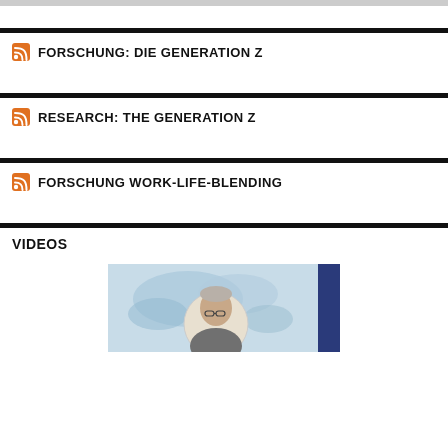FORSCHUNG: DIE GENERATION Z
RESEARCH: THE GENERATION Z
FORSCHUNG WORK-LIFE-BLENDING
VIDEOS
[Figure (photo): Thumbnail of a video showing a person with glasses in front of a light blue world map background, with a dark blue panel on the right edge.]